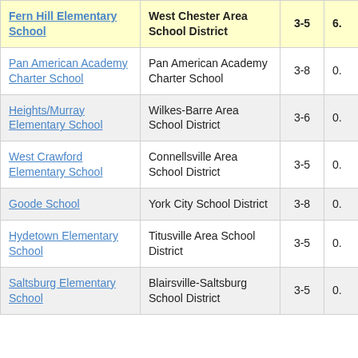| School | District | Grades |  |
| --- | --- | --- | --- |
| Fern Hill Elementary School | West Chester Area School District | 3-5 | 6. |
| Pan American Academy Charter School | Pan American Academy Charter School | 3-8 | 0. |
| Heights/Murray Elementary School | Wilkes-Barre Area School District | 3-6 | 0. |
| West Crawford Elementary School | Connellsville Area School District | 3-5 | 0. |
| Goode School | York City School District | 3-8 | 0. |
| Hydetown Elementary School | Titusville Area School District | 3-5 | 0. |
| Saltsburg Elementary School | Blairsville-Saltsburg School District | 3-5 | 0. |